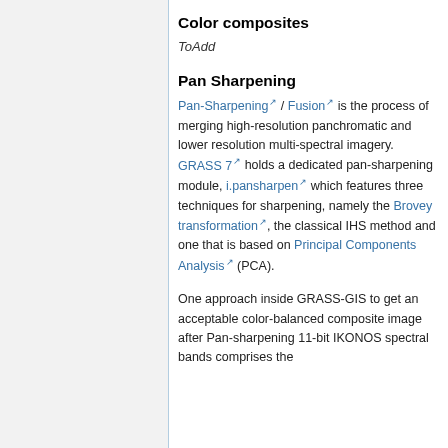Color composites
ToAdd
Pan Sharpening
Pan-Sharpening / Fusion is the process of merging high-resolution panchromatic and lower resolution multi-spectral imagery. GRASS 7 holds a dedicated pan-sharpening module, i.pansharpen which features three techniques for sharpening, namely the Brovey transformation, the classical IHS method and one that is based on Principal Components Analysis (PCA).
One approach inside GRASS-GIS to get an acceptable color-balanced composite image after Pan-sharpening 11-bit IKONOS spectral bands comprises the